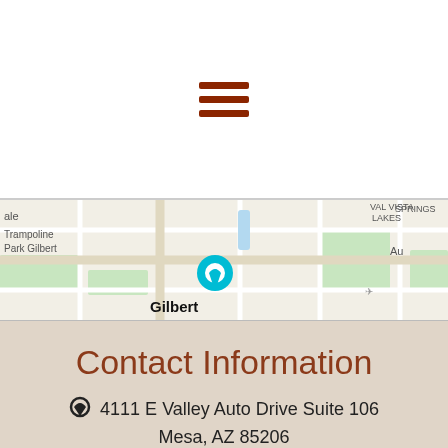[Figure (other): Hamburger menu icon with three dark red horizontal bars]
[Figure (map): Google Maps screenshot showing Gilbert, AZ area with VAL VISTA LAKES, Riparian Preserve at Water Ranch, Trampoline Park Gilbert labeled. A teal map pin marker is visible.]
Contact Information
4111 E Valley Auto Drive Suite 106
Mesa, AZ 85206
623-225-9946
shelly@genesispllc.com